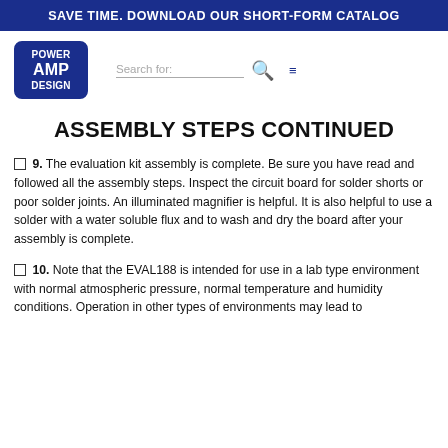SAVE TIME. DOWNLOAD OUR SHORT-FORM CATALOG
[Figure (logo): Power Amp Design logo — dark blue rounded rectangle with white text POWER AMP DESIGN stacked]
ASSEMBLY STEPS CONTINUED
☐ 9. The evaluation kit assembly is complete. Be sure you have read and followed all the assembly steps. Inspect the circuit board for solder shorts or poor solder joints. An illuminated magnifier is helpful. It is also helpful to use a solder with a water soluble flux and to wash and dry the board after your assembly is complete.
☐ 10. Note that the EVAL188 is intended for use in a lab type environment with normal atmospheric pressure, normal temperature and humidity conditions. Operation in other types of environments may lead to